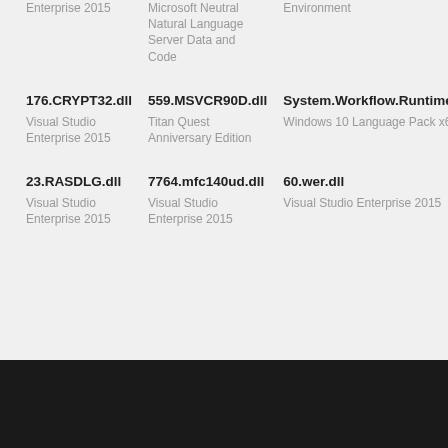Enterprise 2015
559.MSVCR90D.dll
Microsoft Neutral Natural Language Server Data and Code
Environment
176.CRYPT32.dll
Visual Studio Enterprise 2015
559.MSVCR90D.dll
Titan Quest Anniversary Edition
System.Workflow.Runtime.resources.dll
Windows 10 Language Pack x64
23.RASDLG.dll
Visual Studio Enterprise 2015
7764.mfc140ud.dll
Visual Studio Enterprise 2015
60.wer.dll
Visual Studio Enterprise 2015